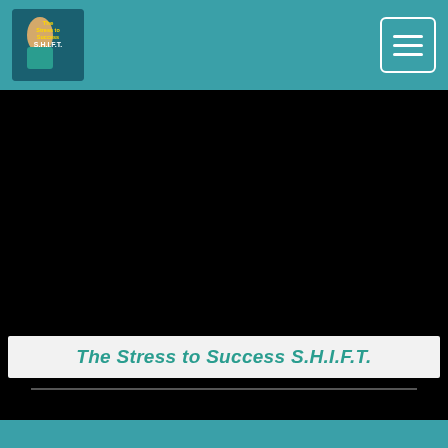[Figure (logo): Podcast logo for The Stress to Success S.H.I.F.T. showing a woman and text]
[Figure (other): Hamburger menu button with three horizontal lines, white on teal]
[Figure (screenshot): Dark video player area]
The Stress to Success S.H.I.F.T.
[Figure (infographic): Social media icon buttons: Facebook, LinkedIn, RSS, podcast (Stitcher?), Apple Podcasts, custom icon, Google Podcasts, Spotify, YouTube — white rounded squares on teal background]